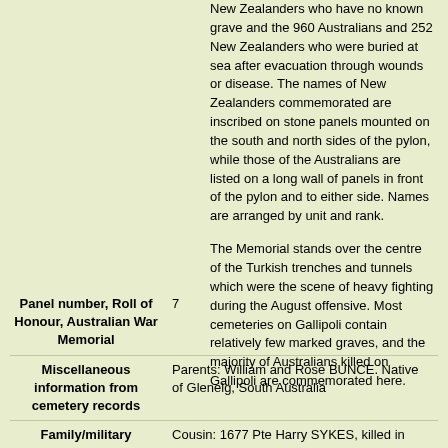New Zealanders who have no known grave and the 960 Australians and 252 New Zealanders who were buried at sea after evacuation through wounds or disease. The names of New Zealanders commemorated are inscribed on stone panels mounted on the south and north sides of the pylon, while those of the Australians are listed on a long wall of panels in front of the pylon and to either side. Names are arranged by unit and rank.
The Memorial stands over the centre of the Turkish trenches and tunnels which were the scene of heavy fighting during the August offensive. Most cemeteries on Gallipoli contain relatively few marked graves, and the majority of Australians killed on Gallipoli are commemorated here.
| Panel number, Roll of Honour, Australian War Memorial | 7 |
| Miscellaneous information from cemetery records | Parents: William and Rose BUNCE. Native of Glenelg, South Australia |
| Family/military connections | Cousin: 1677 Pte Harry SYKES, killed in action, Gallipoli, 20 August 1915. |
| Other details | War service: Egypt, Gallipoli |